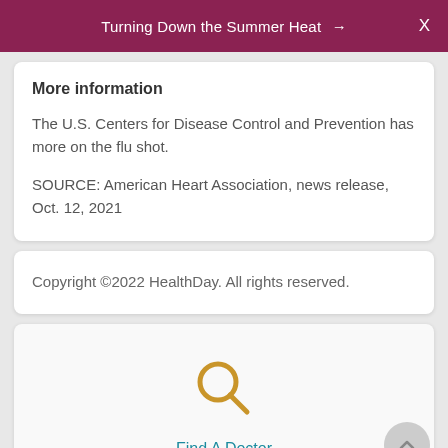Turning Down the Summer Heat → X
More information
The U.S. Centers for Disease Control and Prevention has more on the flu shot.
SOURCE: American Heart Association, news release, Oct. 12, 2021
Copyright ©2022 HealthDay. All rights reserved.
[Figure (illustration): Gold magnifying glass search icon above 'Find A Doctor' link text in teal color]